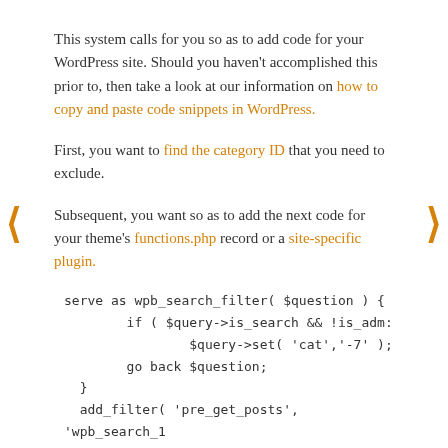This system calls for you so as to add code for your WordPress site. Should you haven't accomplished this prior to, then take a look at our information on how to copy and paste code snippets in WordPress.
First, you want to find the category ID that you need to exclude.
Subsequent, you want so as to add the next code for your theme's functions.php record or a site-specific plugin.
serve as wpb_search_filter( $question ) {
        if ( $query->is_search && !is_adm:
                $query->set( 'cat','-7' );
        go back $question;
  }
  add_filter( 'pre_get_posts', 'wpb_search_1